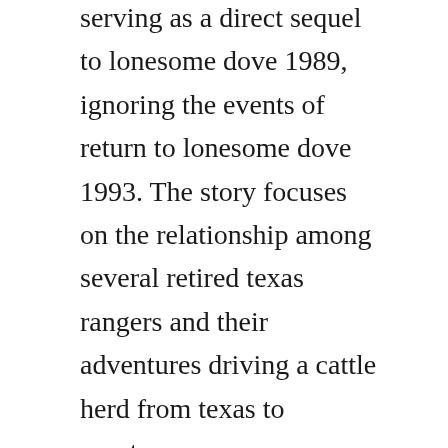serving as a direct sequel to lonesome dove 1989, ignoring the events of return to lonesome dove 1993. The story focuses on the relationship among several retired texas rangers and their adventures driving a cattle herd from texas to montana.
Buy streets of laredo by larry mcmurtry online at alibris. In 1975, larry mcmurtry publish the novel terms of endearment. Larry mcmurtry is a wonderful storyteller, and with. Lonesome dove available for download and read online in other formats. The final book of larry mcmurtrys lonesome dove tetralogy is an